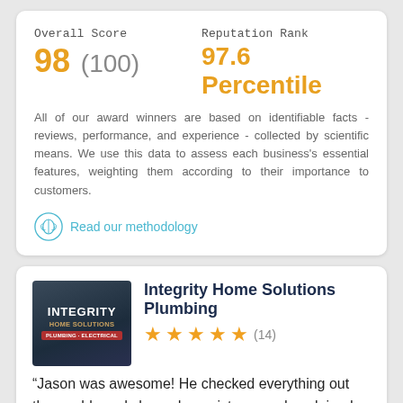Overall Score
98  (100)
Reputation Rank
97.6 Percentile
All of our award winners are based on identifiable facts - reviews, performance, and experience - collected by scientific means. We use this data to assess each business's essential features, weighting them according to their importance to customers.
Read our methodology
Integrity Home Solutions Plumbing
★★★★★ (14)
“Jason was awesome! He checked everything out thoroughly and showed me pictures and explained all the status checks. He offered me some good options for our future system replacements, but didn't try to upsell on anything today. He is a fantasti…”